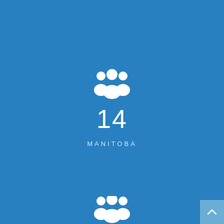[Figure (infographic): White group/people icon (three silhouettes) on blue background, centered near top-center of page]
14
MANITOBA
[Figure (infographic): White group/people icon (three silhouettes) on blue background, centered near bottom of page, partially cut off]
[Figure (other): Back-to-top button: grey-blue square with upward arrow chevron in bottom-right corner]